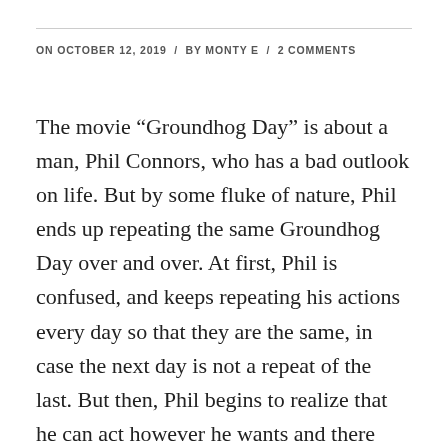ON OCTOBER 12, 2019 / BY MONTY E / 2 COMMENTS
The movie “Groundhog Day” is about a man, Phil Connors, who has a bad outlook on life. But by some fluke of nature, Phil ends up repeating the same Groundhog Day over and over. At first, Phil is confused, and keeps repeating his actions every day so that they are the same, in case the next day is not a repeat of the last. But then, Phil begins to realize that he can act however he wants and there will be no consequences because there will be “no tomorrow.” He begins to break many social and societal constructs, basically